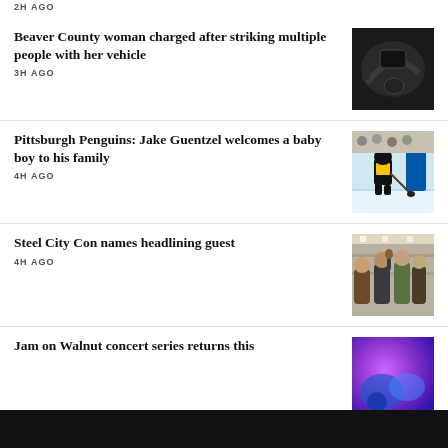2H AGO
Beaver County woman charged after striking multiple people with her vehicle
[Figure (photo): Close-up photo of a car door handle or vehicle exterior, dark tones]
3H AGO
Pittsburgh Penguins: Jake Guentzel welcomes a baby boy to his family
[Figure (photo): Pittsburgh Penguins hockey player on ice in black and yellow uniform]
4H AGO
Steel City Con names headlining guest
[Figure (photo): Group of people indoors, convention setting]
4H AGO
Jam on Walnut concert series returns this
[Figure (photo): Abstract colorful background, purple and blue tones]